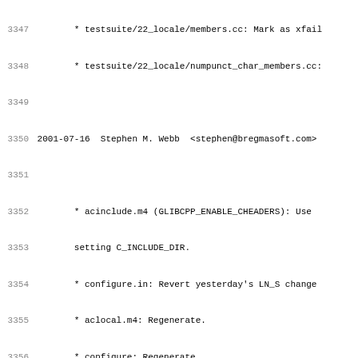3347        * testsuite/22_locale/members.cc: Mark as xfail
3348        * testsuite/22_locale/numpunct_char_members.cc:
3349
3350 2001-07-16  Stephen M. Webb  <stephen@bregmasoft.com>
3351
3352        * acinclude.m4 (GLIBCPP_ENABLE_CHEADERS): Use
3353        setting C_INCLUDE_DIR.
3354        * configure.in: Revert yesterday's LN_S change
3355        * aclocal.m4: Regenerate.
3356        * configure: Regenerate.
3357
3358 2001-07-15  Phil Edwards  <pme@sources.redhat.com>
3359
3360        * configure.in: Temporarily force LN_S to copy
3361        * configure: Regenerate.
3362
3363 2001-07-13  Phil Edwards  <pme@sources.redhat.com>
3364
3365        * include/bits/std_sstream.h (basic_stringbuf::
3366        Initialize _M_string with pointer-and-size cons
3367        pointer. Fix some comments.
3368        * testsuite/21_strings/ctor_copy_dtor.cc (test0
3369        * testsuite/27_io/stringbuf.cc (test02): Remov
3370        (test03): Add embedded-NUL tests.
3371
3372        * mkcheck.in: When printing totals, match the
3373        * include/bits/stringfwd.h: Use same declarati
3374        * include/bits/std_iosfwd.h: Cosmetic spacing.
3375
3376 2001-07-13  Stephen M. Webb  <stephen@bregmasoft.com>
3377        Loren J. Rittle  <ljrittle@acm.org>
3378        Phil Edwards  <pme@sources.redhat.com>